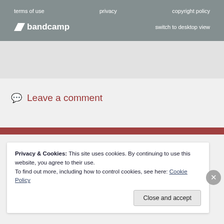terms of use   privacy   copyright policy
bandcamp   switch to desktop view
[Figure (other): Gray placeholder content area]
Leave a comment
Privacy & Cookies: This site uses cookies. By continuing to use this website, you agree to their use.
To find out more, including how to control cookies, see here: Cookie Policy
Close and accept